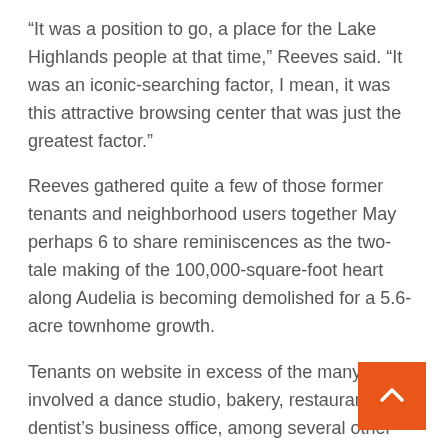“It was a position to go, a place for the Lake Highlands people at that time,” Reeves said. “It was an iconic-searching factor, I mean, it was this attractive browsing center that was just the greatest factor.”
Reeves gathered quite a few of those former tenants and neighborhood users together May perhaps 6 to share reminiscences as the two-tale making of the 100,000-square-foot heart along Audelia is becoming demolished for a 5.6-acre townhome growth.
Tenants on website in excess of the many years involved a dance studio, bakery, restaurant and dentist’s business office, among several other individuals.